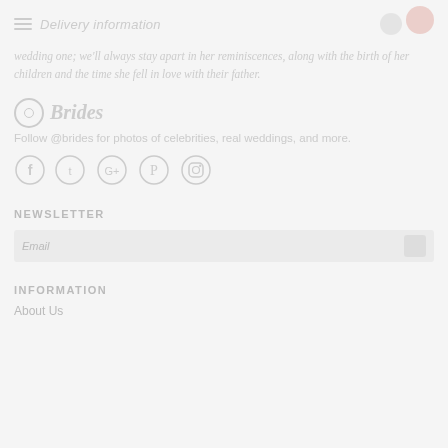Delivery information
wedding one; we'll always stay apart in her reminiscences, along with the birth of her children and the time she fell in love with their father.
Brides
Follow @brides for photos of celebrities, real weddings, and more.
[Figure (infographic): Social media icons: Facebook, Twitter, Google+, Pinterest, Instagram]
NEWSLETTER
Email
INFORMATION
About Us